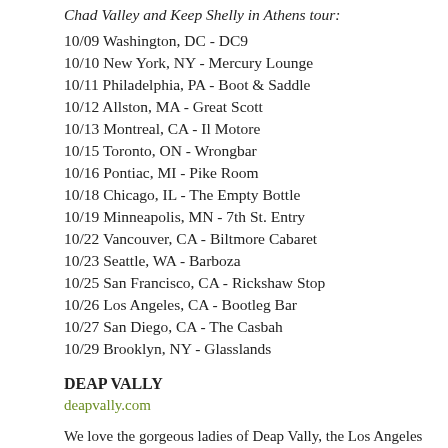Chad Valley and Keep Shelly in Athens tour:
10/09 Washington, DC - DC9
10/10 New York, NY - Mercury Lounge
10/11 Philadelphia, PA - Boot & Saddle
10/12 Allston, MA - Great Scott
10/13 Montreal, CA - Il Motore
10/15 Toronto, ON - Wrongbar
10/16 Pontiac, MI - Pike Room
10/18 Chicago, IL - The Empty Bottle
10/19 Minneapolis, MN - 7th St. Entry
10/22 Vancouver, CA - Biltmore Cabaret
10/23 Seattle, WA - Barboza
10/25 San Francisco, CA - Rickshaw Stop
10/26 Los Angeles, CA - Bootleg Bar
10/27 San Diego, CA - The Casbah
10/29 Brooklyn, NY - Glasslands
DEAP VALLY
deapvally.com
We love the gorgeous ladies of Deap Vally, the Los Angeles based rock-